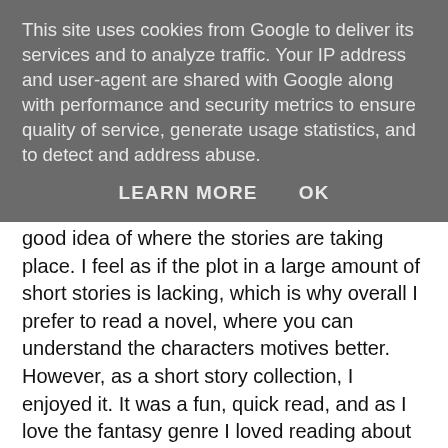This site uses cookies from Google to deliver its services and to analyze traffic. Your IP address and user-agent are shared with Google along with performance and security metrics to ensure quality of service, generate usage statistics, and to detect and address abuse.
LEARN MORE   OK
good idea of where the stories are taking place. I feel as if the plot in a large amount of short stories is lacking, which is why overall I prefer to read a novel, where you can understand the characters motives better. However, as a short story collection, I enjoyed it. It was a fun, quick read, and as I love the fantasy genre I loved reading about these other worldly creatures and their coming into contact with the human race. I particularly enjoyed the third story, “Footsteps,” as this had a well thought out plot as well as the imagery. I feel as if this story could be developed into a full novel, as I found myself wanting to know more about this dystopian world, how everything had started and how the character would go on with her life. Overall it was a great read, and perfect for anyone who likes the fantasy genre but